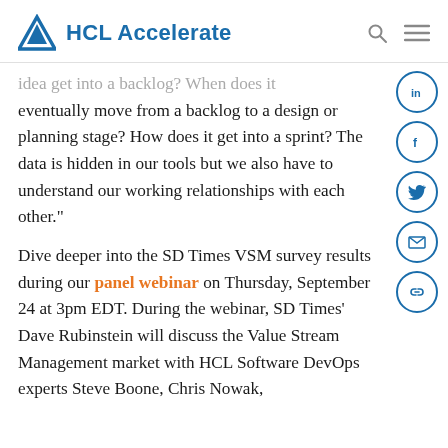HCL Accelerate
idea get into a backlog? When does it eventually move from a backlog to a design or planning stage? How does it get into a sprint? The data is hidden in our tools but we also have to understand our working relationships with each other.”
Dive deeper into the SD Times VSM survey results during our panel webinar on Thursday, September 24 at 3pm EDT. During the webinar, SD Times’ Dave Rubinstein will discuss the Value Stream Management market with HCL Software DevOps experts Steve Boone, Chris Nowak,